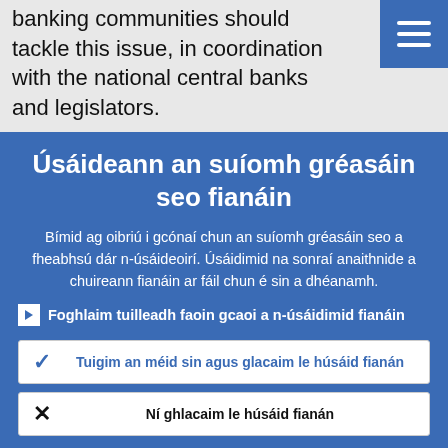banking communities should tackle this issue, in coordination with the national central banks and legislators.
Úsáideann an suíomh gréasáin seo fianáin
Bímid ag oibriú i gcónaí chun an suíomh gréasáin seo a fheabhsú dár n-úsáideoirí. Úsáidimid na sonraí anaithnide a chuireann fianáin ar fáil chun é sin a dhéanamh.
Foghlaim tuilleadh faoin gcaoi a n-úsáidimid fianáin
Tuigim an méid sin agus glacaim le húsáid fianán
Ní ghlacaim le húsáid fianán